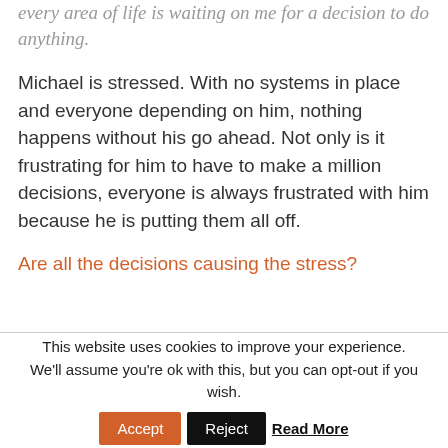every area of life is waiting on me for a decision to do anything.
Michael is stressed.  With no systems in place and everyone depending on him, nothing happens without his go ahead. Not only is it frustrating for him to have to make a million decisions, everyone is always frustrated with him because he is putting them all off.
Are all the decisions causing the stress?
This website uses cookies to improve your experience. We'll assume you're ok with this, but you can opt-out if you wish. Accept Reject Read More